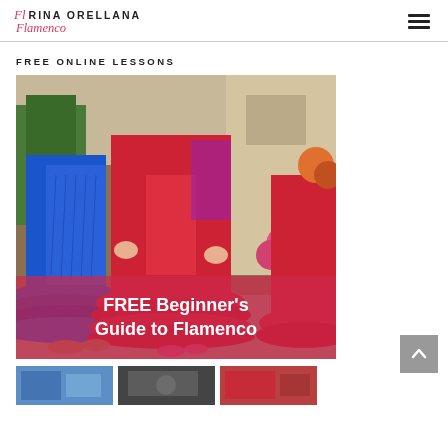RINA ORELLANA Flamenco
FREE ONLINE LESSONS
[Figure (photo): Flamenco dancers in red and blue ruffled dresses with overlay text 'FREE Beginner's Guide to Flamenco']
FREE Beginner's Guide to Flamenco
[Figure (photo): Bottom thumbnail strip showing three small preview images]